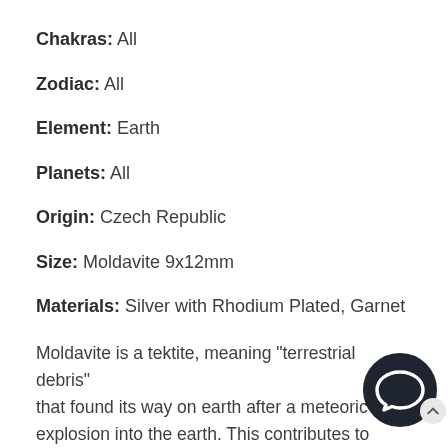Chakras: All
Zodiac: All
Element: Earth
Planets: All
Origin: Czech Republic
Size: Moldavite 9x12mm
Materials: Silver with Rhodium Plated, Garnet
Moldavite is a tektite, meaning "terrestrial debris" that found its way on earth after a meteoric explosion into the earth. This contributes to rarity and is one of the hardest healing stones to source. The only active deposit at the moment is